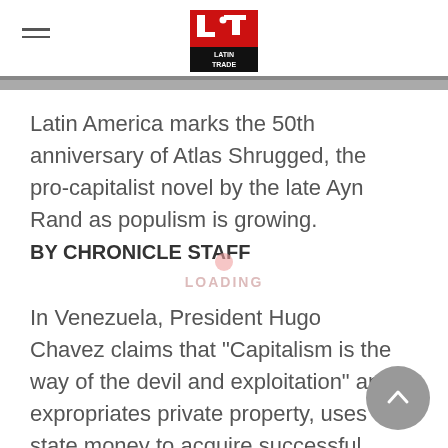Latin Trade (logo)
Latin America marks the 50th anniversary of Atlas Shrugged, the pro-capitalist novel by the late Ayn Rand as populism is growing.
BY CHRONICLE STAFF
In Venezuela, President Hugo Chavez claims that "Capitalism is the way of the devil and exploitation" and expropriates private property, uses state money to acquire successful private companies in telecommunications and energy and threatens to do the same with mining